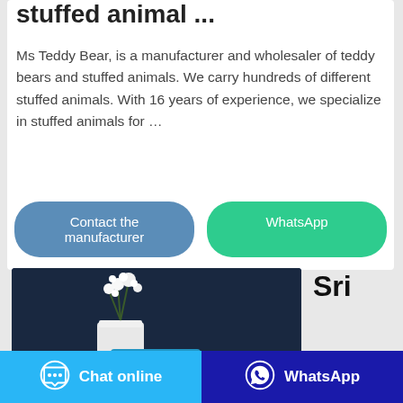stuffed animal ...
Ms Teddy Bear, is a manufacturer and wholesaler of teddy bears and stuffed animals. We carry hundreds of different stuffed animals. With 16 years of experience, we specialize in stuffed animals for …
Contact the manufacturer
WhatsApp
[Figure (photo): Photo of white flowers/plant in a vase against a dark blue background, with a teal toolbar overlay at the bottom]
Sri
Chat online
WhatsApp